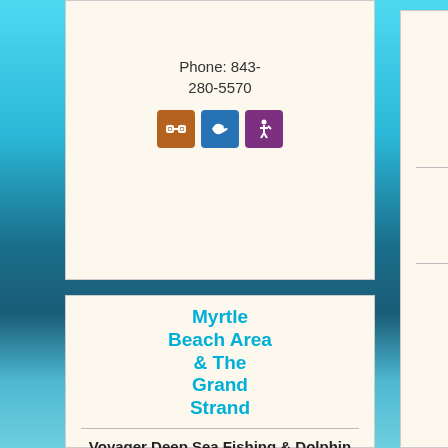Phone: 843-280-5570
[Figure (infographic): Three icon badges: binoculars (brown), fish (blue), hiker (purple)]
Myrtle Beach Area & The Grand Strand
Voyager Deep Sea Fishing & Dolphin Cruises
1525 13th Ave. N. North Myrtle Beach, SC 29582
supervoyagerdo...
Myrtle Beach Area & The Grand Strand
Thomas Outdoor Watersports
2200 Little River Neck Rd. North Myrtle Beach, SC 29582
mbjetski.com
Phone: 843-280-2448
[Figure (infographic): Icon badges: binoculars (brown), boat/kayak (green), fish (blue/teal), and a fourth icon below]